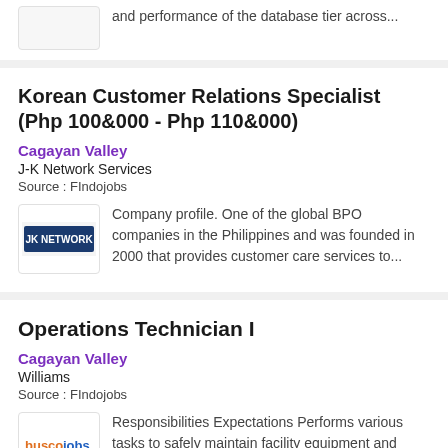and performance of the database tier across...
Korean Customer Relations Specialist (Php 100&000 - Php 110&000)
Cagayan Valley
J-K Network Services
Source : FIndojobs
[Figure (logo): J-K Network Services logo]
Company profile. One of the global BPO companies in the Philippines and was founded in 2000 that provides customer care services to...
Operations Technician I
Cagayan Valley
Williams
Source : FIndojobs
[Figure (logo): Buscojobs logo]
Responsibilities Expectations Performs various tasks to safely maintain facility equipment and support pipeline operations, inspecting...